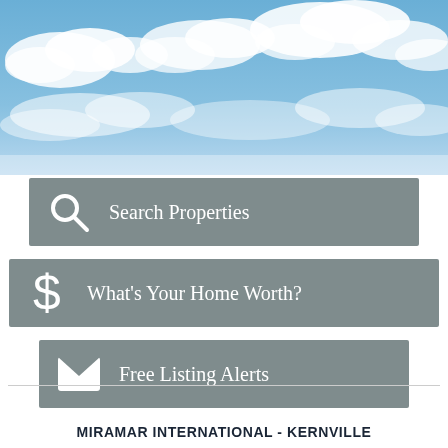[Figure (photo): Blue sky with white clouds background image spanning the top portion of the page]
[Figure (infographic): Three grey button-style call-to-action boxes: 'Search Properties' with magnifying glass icon, 'What's Your Home Worth?' with dollar sign icon, 'Free Listing Alerts' with envelope icon]
MIRAMAR INTERNATIONAL - KERNVILLE